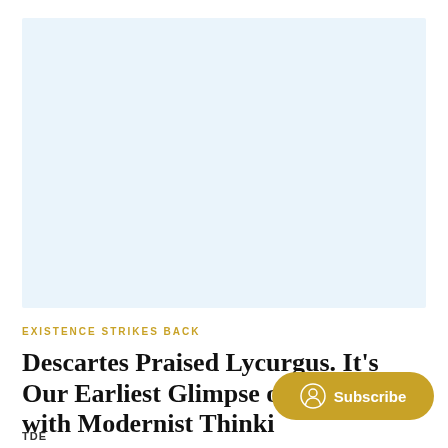[Figure (illustration): Light blue rectangular placeholder image area]
EXISTENCE STRIKES BACK
Descartes Praised Lycurgus. It's Our Earliest Glimpse of the [...]  with Modernist Thinki[ng]
TDE